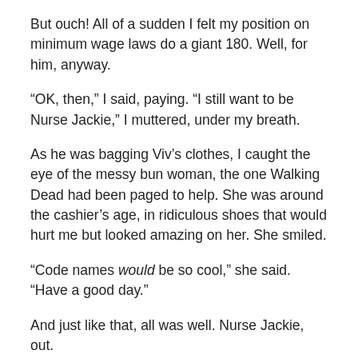But ouch! All of a sudden I felt my position on minimum wage laws do a giant 180. Well, for him, anyway.
“OK, then,” I said, paying. “I still want to be Nurse Jackie,” I muttered, under my breath.
As he was bagging Viv’s clothes, I caught the eye of the messy bun woman, the one Walking Dead had been paged to help. She was around the cashier’s age, in ridiculous shoes that would hurt me but looked amazing on her. She smiled.
“Code names would be so cool,” she said. “Have a good day.”
And just like that, all was well. Nurse Jackie, out.